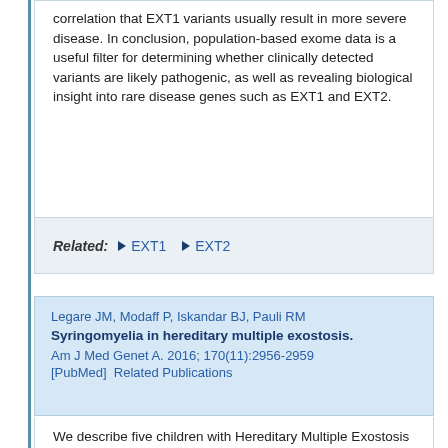correlation that EXT1 variants usually result in more severe disease. In conclusion, population-based exome data is a useful filter for determining whether clinically detected variants are likely pathogenic, as well as revealing biological insight into rare disease genes such as EXT1 and EXT2.
Related: ► EXT1 ► EXT2
Legare JM, Modaff P, Iskandar BJ, Pauli RM
Syringomyelia in hereditary multiple exostosis.
Am J Med Genet A. 2016; 170(11):2956-2959
[PubMed] Related Publications
We describe five children with Hereditary Multiple Exostosis (HME) who also had syringomyelia. Of these, four had a tethered cord/fibrolipoma. No spinal osteochondromas were found in these patients. All had...